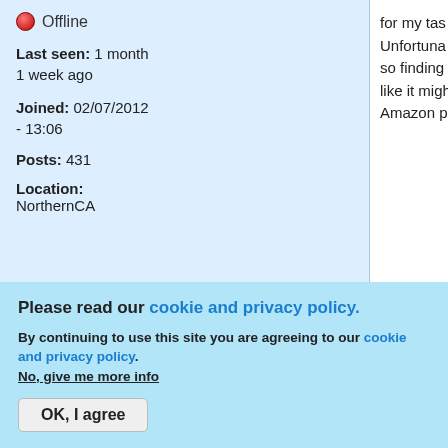Offline
Last seen: 1 month 1 week ago
Joined: 02/07/2012 - 13:06
Posts: 431
Location: NorthernCA
for my tas... Unfortunately... so finding... like it migh... Amazon p...
[Figure (screenshot): Top button with upward arrow icon and label 'Top']
Mon, 08/10/2020 - 21:02
Chronovore
Offline
Please read our cookie and privacy policy.
By continuing to use this site you are agreeing to our cookie and privacy policy. No, give me more info
OK, I agree